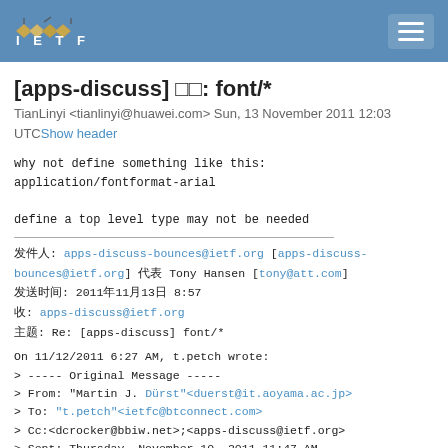IETF header navigation bar
[apps-discuss] â¬â¦: font/*
TianLinyi <tianlinyi@huawei.com> Sun, 13 November 2011 12:03 UTC Show header
why not define something like this:
application/fontformat-arial

define a top level type may not be needed
发件人: apps-discuss-bounces@ietf.org [apps-discuss-bounces@ietf.org] 代表 Tony Hansen [tony@att.com]
发送时间: 2011年11月13日 8:57
收件人: apps-discuss@ietf.org
主题: Re: [apps-discuss] font/*
On 11/12/2011 6:27 AM, t.petch wrote:
> ----- Original Message -----
> From: "Martin J. Dürst"<duerst@it.aoyama.ac.jp>
> To: "t.petch"<ietfc@btconnect.com>
> Cc:<dcrocker@bbiw.net>;<apps-discuss@ietf.org>
> Sent: Thursday, November 10, 2011 11:47 AM